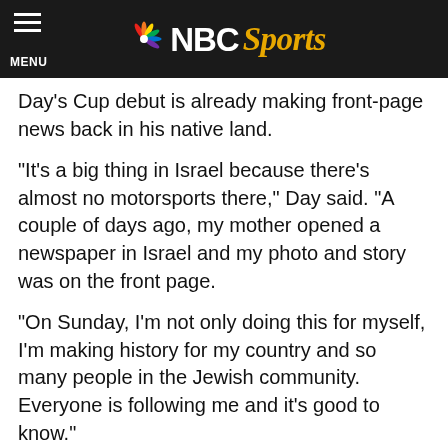NBC Sports
Day's Cup debut is already making front-page news back in his native land.
“It’s a big thing in Israel because there’s almost no motorsports there,” Day said. “A couple of days ago, my mother opened a newspaper in Israel and my photo and story was on the front page.
“On Sunday, I’m not only doing this for myself, I’m making history for my country and so many people in the Jewish community. Everyone is following me and it’s good to know.”
Day made two starts each in the Xfinity Series and Truck Series last season, ultimately leading to being named Israel’s Athlete of the Year. In his first Xfinity start at Mid-Ohio, he challenged for the lead through much of the race before finishing 13th.